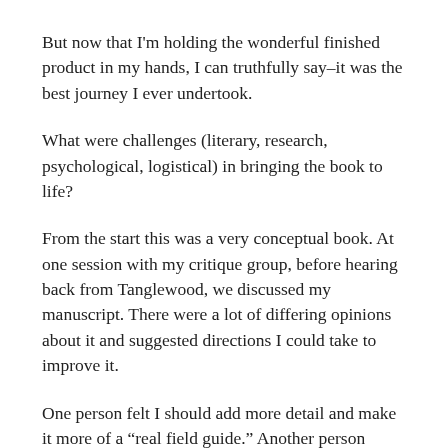But now that I'm holding the wonderful finished product in my hands, I can truthfully say–it was the best journey I ever undertook.
What were challenges (literary, research, psychological, logistical) in bringing the book to life?
From the start this was a very conceptual book. At one session with my critique group, before hearing back from Tanglewood, we discussed my manuscript. There were a lot of differing opinions about it and suggested directions I could take to improve it.
One person felt I should add more detail and make it more of a "real field guide." Another person thought it would do best as a chapter book with more of a main character and specific events happening, and so on.